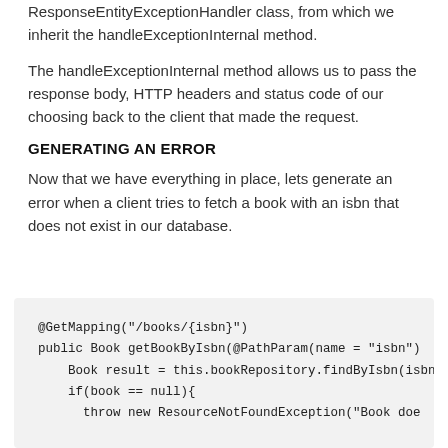ResponseEntityExceptionHandler class, from which we inherit the handleExceptionInternal method.
The handleExceptionInternal method allows us to pass the response body, HTTP headers and status code of our choosing back to the client that made the request.
GENERATING AN ERROR
Now that we have everything in place, lets generate an error when a client tries to fetch a book with an isbn that does not exist in our database.
[Figure (screenshot): Code block showing Java method with @GetMapping annotation, getBookByIsbn method signature, Book result assignment, if(book == null) check, and throw new ResourceNotFoundException call (truncated)]